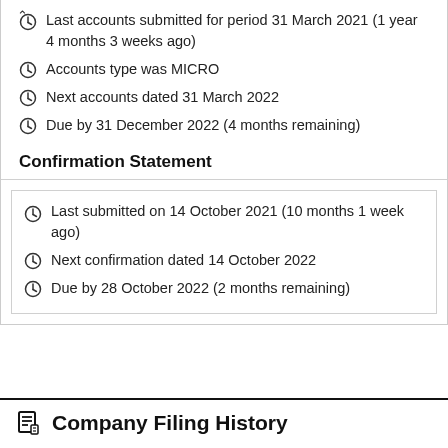Last accounts submitted for period 31 March 2021 (1 year 4 months 3 weeks ago)
Accounts type was MICRO
Next accounts dated 31 March 2022
Due by 31 December 2022 (4 months remaining)
Confirmation Statement
Last submitted on 14 October 2021 (10 months 1 week ago)
Next confirmation dated 14 October 2022
Due by 28 October 2022 (2 months remaining)
Company Filing History